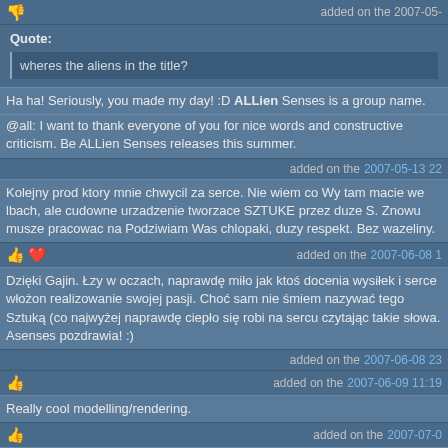added on the 2007-05-
Quote:
wheres the aliens in the title?
Ha ha! Seriously, you made my day! :D ALLien Senses is a group name.
@all: I want to thank everyone of you for nice words and constructive criticism. Be ALLien Senses releases this summer.
added on the 2007-05-13 22
Kolejny prod ktory mnie chwycil za serce. Nie wiem co Wy tam macie we lbach, ale cudowne urzadzenie tworzace SZTUKE przez duze S. Znowu musze pracowac na Podziwiam Was chlopaki, duzy respekt. Bez wazeliny.
added on the 2007-06-08
Dzięki Gajin. Łzy w oczach, naprawdę miło jak ktoś docenia wysiłek i serce włożon realizowanie swojej pasji. Choć sam nie śmiem nazywać tego Sztuką (co najwyżej naprawdę ciepło się robi na sercu czytając takie słowa. Asenses pozdrawia! :)
added on the 2007-06-08 23
added on the 2007-06-09 11:19
Really cool modelling/rendering.
added on the 2007-07-0
beautiful but, yes more demoish fx would be cool, not more demonstrative regardin soundtrack fits perfectly the ambiance created there.
added on the 2007-07-07
Nice models.. But I can't give more than a piggie..
added on the 2007-08-08